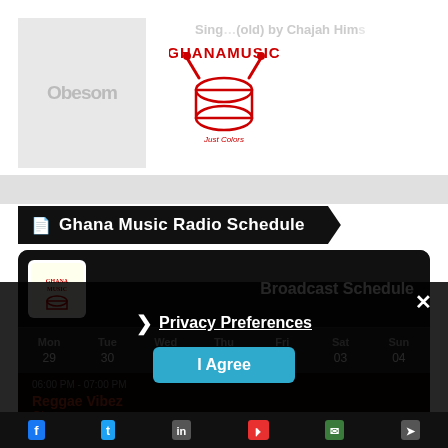GhanaMusic — Single (Gold) by Chajah Hims
Ghana Music Radio Schedule
| Mon | Tue | Wed | Thu | Fri | Sat | Sun |
| --- | --- | --- | --- | --- | --- | --- |
| 29 | 30 | 31 | 01 | 02 | 03 | 04 |
Broadcast Schedule
06:00 PM - 07:00 PM
Reggae Vibez
Gha...
Privacy Preferences
I Agree